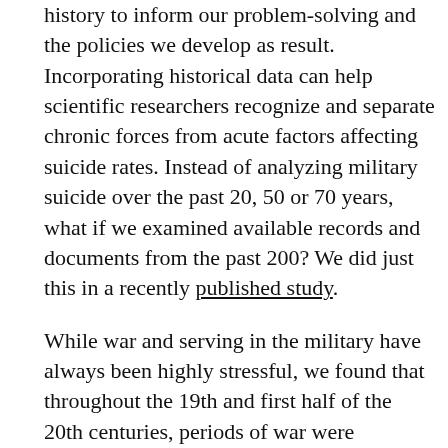history to inform our problem-solving and the policies we develop as result. Incorporating historical data can help scientific researchers recognize and separate chronic forces from acute factors affecting suicide rates. Instead of analyzing military suicide over the past 20, 50 or 70 years, what if we examined available records and documents from the past 200? We did just this in a recently published study.
While war and serving in the military have always been highly stressful, we found that throughout the 19th and first half of the 20th centuries, periods of war were associated with decreased suicide